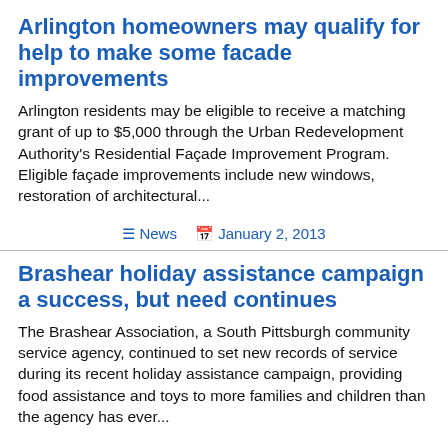Arlington homeowners may qualify for help to make some facade improvements
Arlington residents may be eligible to receive a matching grant of up to $5,000 through the Urban Redevelopment Authority's Residential Façade Improvement Program. Eligible façade improvements include new windows, restoration of architectural...
≡ News  📅 January 2, 2013
Brashear holiday assistance campaign a success, but need continues
The Brashear Association, a South Pittsburgh community service agency, continued to set new records of service during its recent holiday assistance campaign, providing food assistance and toys to more families and children than the agency has ever...